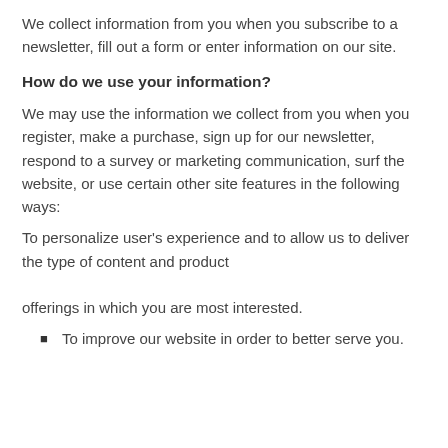We collect information from you when you subscribe to a newsletter, fill out a form or enter information on our site.
How do we use your information?
We may use the information we collect from you when you register, make a purchase, sign up for our newsletter, respond to a survey or marketing communication, surf the website, or use certain other site features in the following ways:
To personalize user's experience and to allow us to deliver the type of content and product offerings in which you are most interested.
To improve our website in order to better serve you.